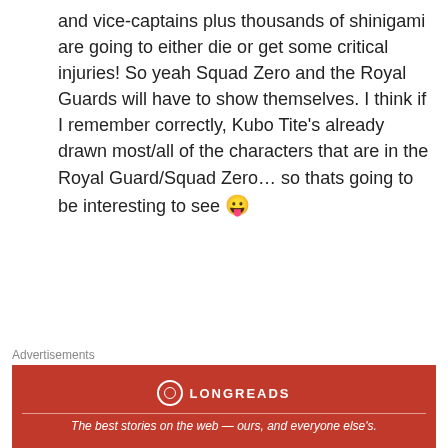and vice-captains plus thousands of shinigami are going to either die or get some critical injuries! So yeah Squad Zero and the Royal Guards will have to show themselves. I think if I remember correctly, Kubo Tite's already drawn most/all of the characters that are in the Royal Guard/Squad Zero… so thats going to be interesting to see 😛
★ Like
Ne3X7
July 26, 2012 at 5:49 pm
I doubt all of the captains will die, in case th…
Advertisements
[Figure (logo): Longreads advertisement banner: red background with Longreads logo (circle with L) and tagline 'The best stories on the web — ours, and everyone else's.']